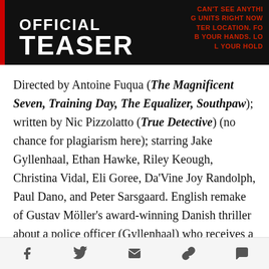[Figure (screenshot): Dark movie teaser banner with 'OFFICIAL TEASER' text in white bold font on black background with a red vertical bar on the left, and red overlay text on the right]
Directed by Antoine Fuqua (The Magnificent Seven, Training Day, The Equalizer, Southpaw); written by Nic Pizzolatto (True Detective) (no chance for plagiarism here); starring Jake Gyllenhaal, Ethan Hawke, Riley Keough, Christina Vidal, Eli Goree, Da'Vine Joy Randolph, Paul Dano, and Peter Sarsgaard. English remake of Gustav Möller's award-winning Danish thriller about a police officer (Gyllenhaal) who receives a 911 call that leaves him chasing down clues to a possible kidnapping. Despite the poorly edited trailer, Gyllenhaal has proven he's tailor-made for suspense on either side of the law and I've no doubt he'll kill it in this role. Don't even get me started on the rest of the
Social share icons: Facebook, Twitter, Email, Link, Comment